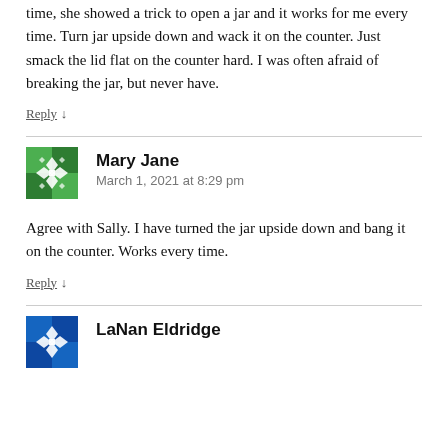time, she showed a trick to open a jar and it works for me every time. Turn jar upside down and wack it on the counter. Just smack the lid flat on the counter hard. I was often afraid of breaking the jar, but never have.
Reply ↓
[Figure (illustration): Green avatar icon with geometric snowflake/cross pattern for user Mary Jane]
Mary Jane
March 1, 2021 at 8:29 pm
Agree with Sally. I have turned the jar upside down and bang it on the counter. Works every time.
Reply ↓
[Figure (illustration): Blue avatar icon with geometric pattern for user LaNan Eldridge]
LaNan Eldridge